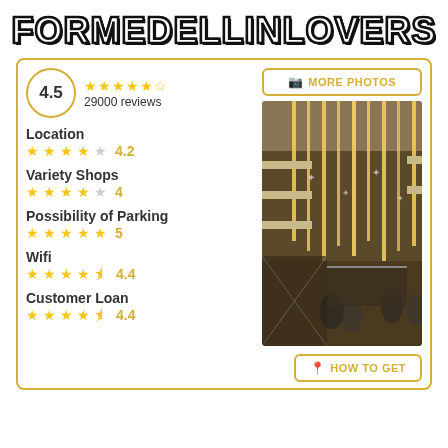FORMEDELLINLOVERS
[Figure (infographic): Rating card for a shopping mall location with overall score 4.5 (29000 reviews), category ratings for Location (4.2), Variety Shops (4), Possibility of Parking (5), Wifi (4.4), Customer Loan (4.4), a More Photos button, a photo of a mall interior with decorative lights, and a How to Get button.]